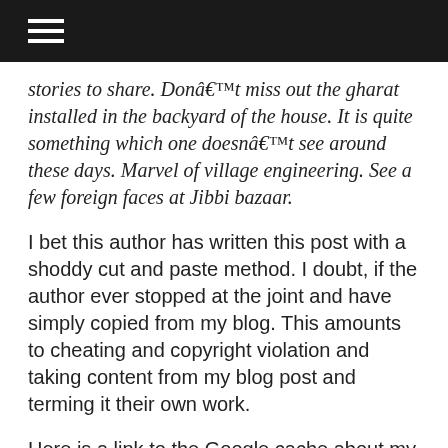≡
stories to share. Don't miss out the gharat installed in the backyard of the house. It is quite something which one doesn't see around these days. Marvel of village engineering. See a few foreign faces at Jibbi bazaar.
I bet this author has written this post with a shoddy cut and paste method. I doubt, if the author ever stopped at the joint and have simply copied from my blog. This amounts to cheating and copyright violation and taking content from my blog post and terming it their own work.
Here is a link to the Google cache about my post http://74.125.93.132/search?